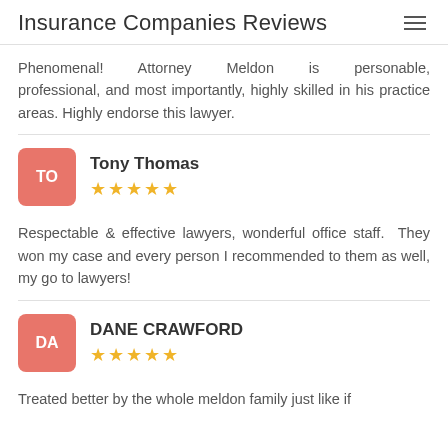Insurance Companies Reviews
Phenomenal! Attorney Meldon is personable, professional, and most importantly, highly skilled in his practice areas. Highly endorse this lawyer.
Tony Thomas ★★★★★
Respectable & effective lawyers, wonderful office staff. They won my case and every person I recommended to them as well, my go to lawyers!
DANE CRAWFORD ★★★★★
Treated better by the whole meldon family just like if